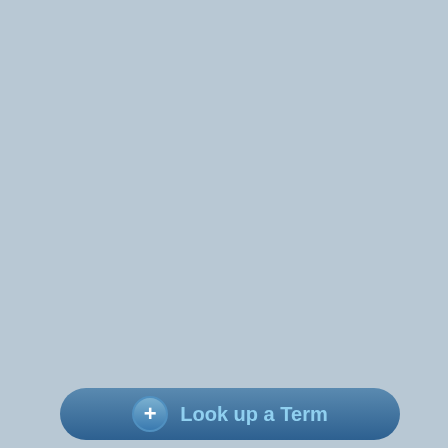the water vapour concentratio significant macroscopic hold condenses, and gravity then trying to sell a ludicrous notio measurements (see [*] and [* signature of upper tropospher "Climate models predict that t troposphere could double by greenhouse gases. Such mo the climate warms in respons detect because of deficiencie measurements to highlight a moistening over the period 19 captured by climate model si projections of future global w human-induced changes in a USA 104 15248-15253. Abstr Microwave Imager (SSM/I) s oceans has increased by 0.4 climate models indicate that explained by climate noise al using the pooled results from pattern of anthropogenically statistical confidence in the S varied individually suggest th caused increases in greenh the eruption of Mount Pinatu emerging anthropogenic sign
Look up a Term